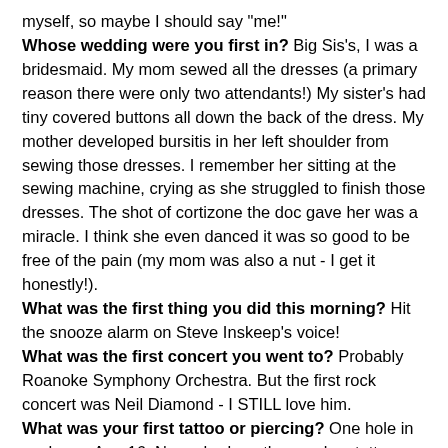myself, so maybe I should say "me!"
Whose wedding were you first in? Big Sis's, I was a bridesmaid. My mom sewed all the dresses (a primary reason there were only two attendants!) My sister's had tiny covered buttons all down the back of the dress. My mother developed bursitis in her left shoulder from sewing those dresses. I remember her sitting at the sewing machine, crying as she struggled to finish those dresses. The shot of cortizone the doc gave her was a miracle. I think she even danced it was so good to be free of the pain (my mom was also a nut - I get it honestly!).
What was the first thing you did this morning? Hit the snooze alarm on Steve Inskeep's voice!
What was the first concert you went to? Probably Roanoke Symphony Orchestra. But the first rock concert was Neil Diamond - I STILL love him.
What was your first tattoo or piercing? One hole in each ear. Age 16. Never had another, and no tattoos.
What was the first foreign country you went to? Canada - first and only, and only for one day. Expo 67.
What was your first run in with the law? Arrested for failure to appear in court on a traffic offense. (Driving on